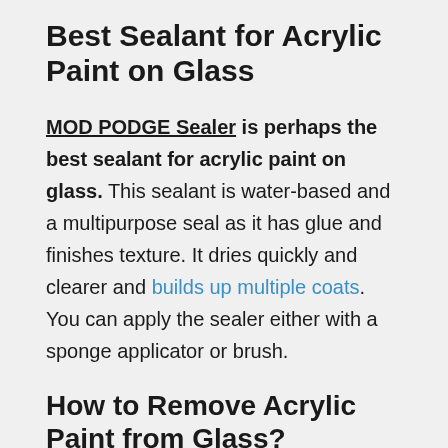Best Sealant for Acrylic Paint on Glass
MOD PODGE Sealer is perhaps the best sealant for acrylic paint on glass. This sealant is water-based and a multipurpose seal as it has glue and finishes texture. It dries quickly and clearer and builds up multiple coats. You can apply the sealer either with a sponge applicator or brush.
How to Remove Acrylic Paint from Glass?